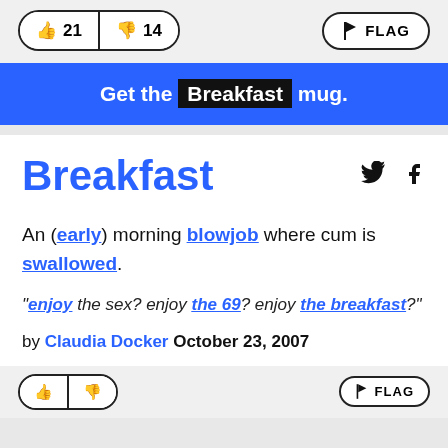[Figure (screenshot): Vote buttons showing thumbs up 21 and thumbs down 14, and a FLAG button on the right]
Get the Breakfast mug.
Breakfast
An (early) morning blowjob where cum is swallowed.
"enjoy the sex? enjoy the 69? enjoy the breakfast?"
by Claudia Docker October 23, 2007